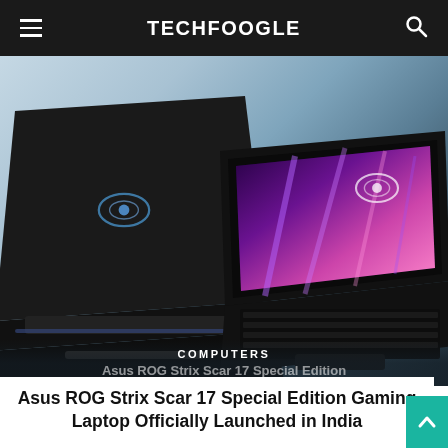TECHFOOGLE
[Figure (photo): Two ASUS ROG Strix Scar 17 Special Edition gaming laptops shown from different angles: left laptop showing the back (lid) with ROG logo illuminated in blue, right laptop showing the screen with ROG wallpaper in purple/pink colors. Background is a gradient from light blue-grey to dark charcoal.]
COMPUTERS
Asus ROG Strix Scar 17 Special Edition
Asus ROG Strix Scar 17 Special Edition Gaming Laptop Officially Launched in India